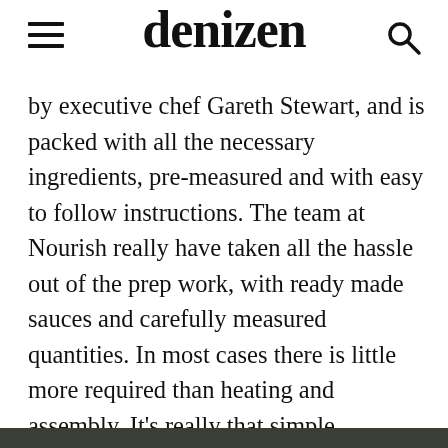denizen
by executive chef Gareth Stewart, and is packed with all the necessary ingredients, pre-measured and with easy to follow instructions. The team at Nourish really have taken all the hassle out of the prep work, with ready made sauces and carefully measured quantities. In most cases there is little more required than heating and assembly. It’s really that simple.